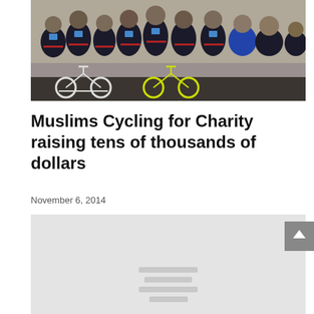[Figure (photo): Group photo of cyclists in dark jerseys with red trim, standing with bicycles (white and yellow-green) in front of a light-colored wall]
Muslims Cycling for Charity raising tens of thousands of dollars
November 6, 2014
[Figure (other): Embedded media placeholder showing grey loading lines on a light grey background]
[Figure (other): Scroll-to-top button with upward chevron arrow on grey background]